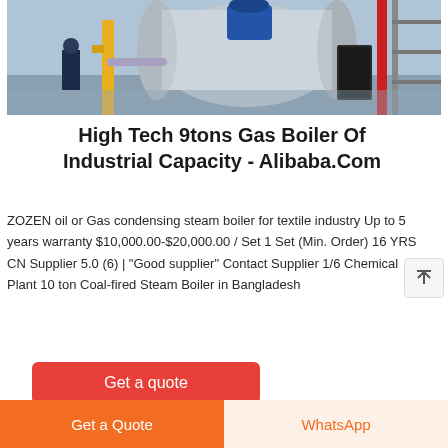[Figure (photo): Industrial boiler room with large cylindrical gas boiler, yellow piping, blue motor, and worker in background]
High Tech 9tons Gas Boiler Of Industrial Capacity - Alibaba.Com
ZOZEN oil or Gas condensing steam boiler for textile industry Up to 5 years warranty $10,000.00-$20,000.00 / Set 1 Set (Min. Order) 16 YRS CN Supplier 5.0 (6) | "Good supplier" Contact Supplier 1/6 Chemical Plant 10 ton Coal-fired Steam Boiler in Bangladesh
Get a quote
Get a Quote
WhatsApp